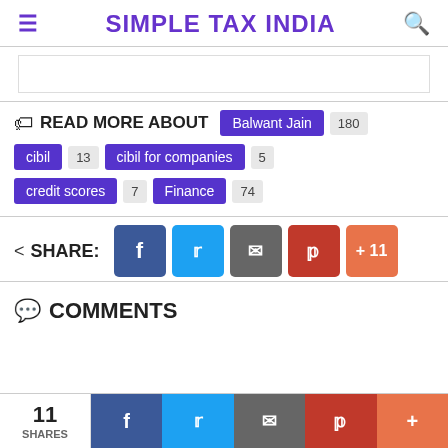SIMPLE TAX INDIA
READ MORE ABOUT  Balwant Jain 180  cibil 13  cibil for companies 5  credit scores 7  Finance 74
SHARE:
COMMENTS
11 SHARES